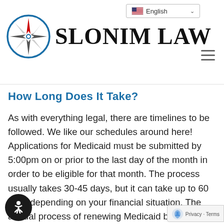Slonim Law
How Long Does It Take?
As with everything legal, there are timelines to be followed. We like our schedules around here! Applications for Medicaid must be submitted by 5:00pm on or prior to the last day of the month in order to be eligible for that month. The process usually takes 30-45 days, but it can take up to 60 days depending on your financial situation. The annual process of renewing Medicaid benefits involves completing the online application and providing to DCF the applicant's current income and asset verifications.